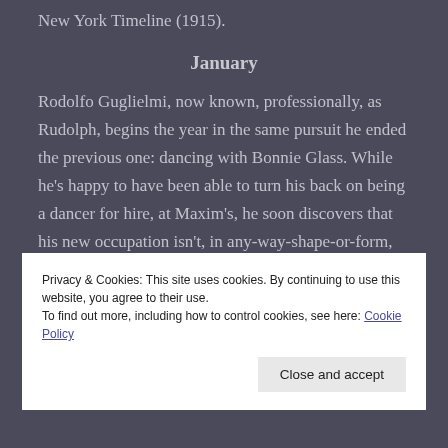New York Timeline (1915).
January
Rodolfo Guglielmi, now known, professionally, as Rudolph, begins the year in the same pursuit he ended the previous one: dancing with Bonnie Glass. While he’s happy to have been able to turn his back on being a dancer for hire, at Maxim’s, he soon discovers that his new occupation isn’t, in any-way-shape-or-form, an easy one. The first weeks of 1915 are filled with
Privacy & Cookies: This site uses cookies. By continuing to use this website, you agree to their use.
To find out more, including how to control cookies, see here: Cookie Policy
Close and accept